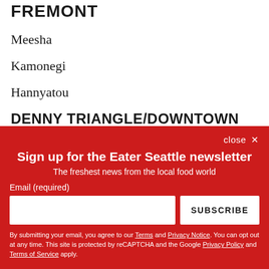FREMONT
Meesha
Kamonegi
Hannyatou
DENNY TRIANGLE/DOWNTOWN
La Cousine
close ×
Sign up for the Eater Seattle newsletter
The freshest news from the local food world
Email (required)
SUBSCRIBE
By submitting your email, you agree to our Terms and Privacy Notice. You can opt out at any time. This site is protected by reCAPTCHA and the Google Privacy Policy and Terms of Service apply.